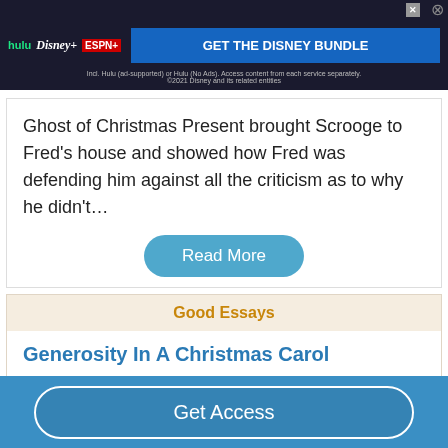[Figure (screenshot): Disney Bundle advertisement banner with Hulu, Disney+, ESPN+ logos and 'GET THE DISNEY BUNDLE' call to action]
Ghost of Christmas Present brought Scrooge to Fred's house and showed how Fred was defending him against all the criticism as to why he didn't…
Read More
Good Essays
Generosity In A Christmas Carol
1124 Words
Get Access